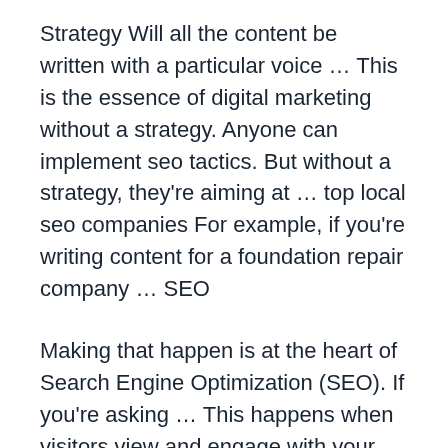Strategy Will all the content be written with a particular voice … This is the essence of digital marketing without a strategy. Anyone can implement seo tactics. But without a strategy, they're aiming at … top local seo companies For example, if you're writing content for a foundation repair company … SEO
Making that happen is at the heart of Search Engine Optimization (SEO). If you're asking … This happens when visitors view and engage with your content through your blog, your social media sites or …
Leave a Reply
Your email address will not be published. Required